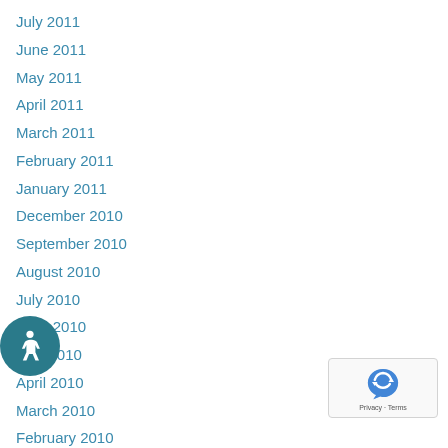July 2011
June 2011
May 2011
April 2011
March 2011
February 2011
January 2011
December 2010
September 2010
August 2010
July 2010
June 2010
May 2010
April 2010
March 2010
February 2010
December 2009
November 2009
[Figure (logo): Accessibility icon — wheelchair symbol in white on teal circle]
[Figure (logo): Google reCAPTCHA badge with Privacy and Terms text]